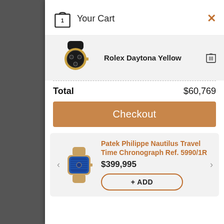Your Cart
Rolex Daytona Yellow
Total  $60,769
Checkout
Patek Philippe Nautilus Travel Time Chronograph Ref. 5990/1R
$399,995
+ ADD